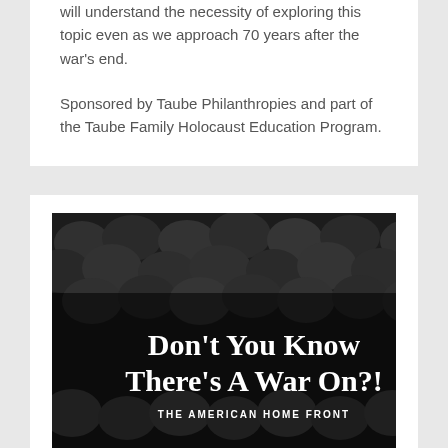will understand the necessity of exploring this topic even as we approach 70 years after the war's end.
Sponsored by Taube Philanthropies and part of the Taube Family Holocaust Education Program.
[Figure (photo): Black and white photograph of rows of helmeted soldiers/figures viewed from above, with large white bold serif text overlay reading 'Don't You Know There's A War On?!' and smaller text 'THE AMERICAN HOME FRONT']